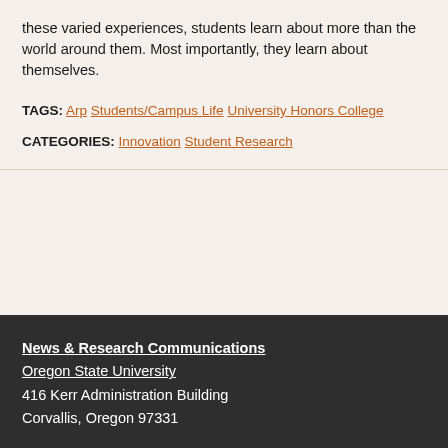these varied experiences, students learn about more than the world around them. Most importantly, they learn about themselves.
TAGS: Arp Students/Campus Life University Honors College
CATEGORIES: Innovation Student Research
News & Research Communications
Oregon State University
416 Kerr Administration Building
Corvallis, Oregon 97331